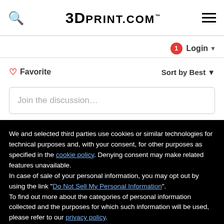3DPRINT.COM™
Login ▾
♡ Favorite    Sort by Best ▾
Join the discussion…
We and selected third parties use cookies or similar technologies for technical purposes and, with your consent, for other purposes as specified in the cookie policy. Denying consent may make related features unavailable.
In case of sale of your personal information, you may opt out by using the link "Do Not Sell My Personal Information".
To find out more about the categories of personal information collected and the purposes for which such information will be used, please refer to our privacy policy.
You can consent to the use of such technologies by using the "Accept" button, by scrolling this page, by interacting with any link or button outside of this notice or by continuing to browse otherwise.
Reject
Accept
Learn more and customize